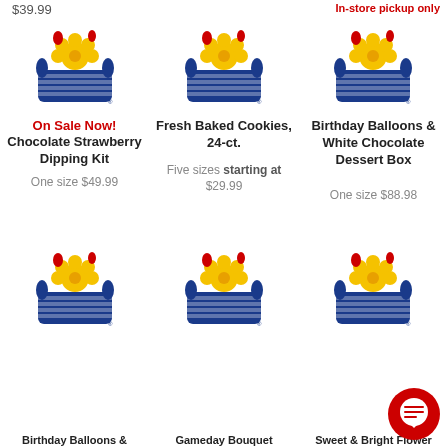$39.99
In-store pickup only
[Figure (logo): 1-800-Flowers logo basket with flowers]
On Sale Now!
Chocolate Strawberry Dipping Kit
One size $49.99
[Figure (logo): 1-800-Flowers logo basket with flowers]
Fresh Baked Cookies, 24-ct.
Five sizes starting at $29.99
[Figure (logo): 1-800-Flowers logo basket with flowers]
Birthday Balloons & White Chocolate Dessert Box
One size $88.98
[Figure (logo): 1-800-Flowers logo basket with flowers]
[Figure (logo): 1-800-Flowers logo basket with flowers]
[Figure (logo): 1-800-Flowers logo basket with flowers]
Birthday Balloons &
Gameday Bouquet
Sweet & Bright Flower